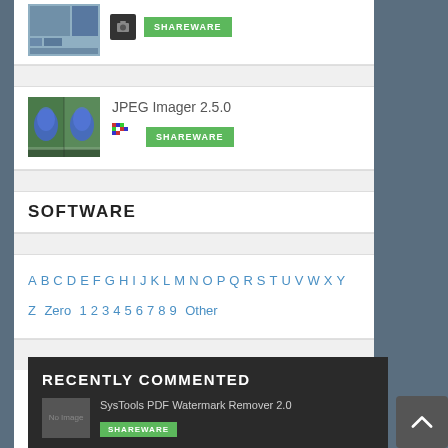[Figure (screenshot): Software thumbnail for first item (partially visible at top), with small camera icon and green SHAREWARE button]
[Figure (screenshot): JPEG Imager 2.5.0 thumbnail showing blue flowers photo comparison]
JPEG Imager 2.5.0
SHAREWARE
SOFTWARE
A B C D E F G H I J K L M N O P Q R S T U V W X Y Z Zero 1 2 3 4 5 6 7 8 9 Other
RECENTLY COMMENTED
SysTools PDF Watermark Remover 2.0
SHAREWARE